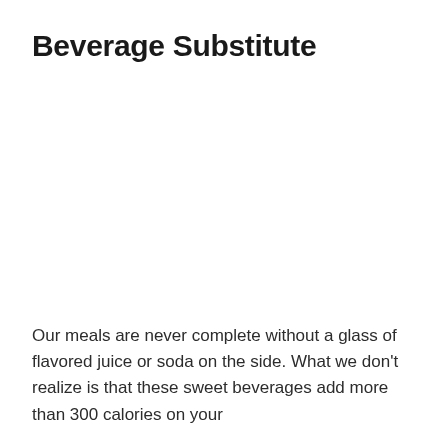Beverage Substitute
Our meals are never complete without a glass of flavored juice or soda on the side. What we don't realize is that these sweet beverages add more than 300 calories on your